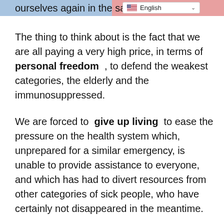ourselves again in the same
The thing to think about is the fact that we are all paying a very high price, in terms of personal freedom , to defend the weakest categories, the elderly and the immunosuppressed.
We are forced to give up living to ease the pressure on the health system which, unprepared for a similar emergency, is unable to provide assistance to everyone, and which has had to divert resources from other categories of sick people, who have certainly not disappeared in the meantime.